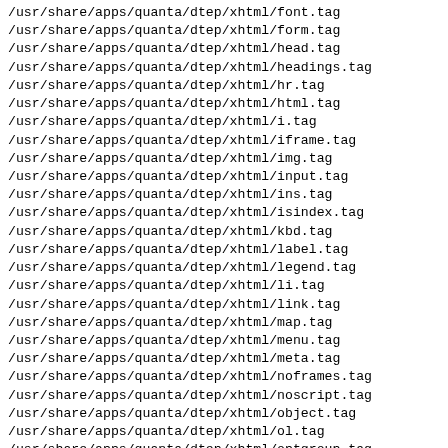/usr/share/apps/quanta/dtep/xhtml/font.tag
/usr/share/apps/quanta/dtep/xhtml/form.tag
/usr/share/apps/quanta/dtep/xhtml/head.tag
/usr/share/apps/quanta/dtep/xhtml/headings.tag
/usr/share/apps/quanta/dtep/xhtml/hr.tag
/usr/share/apps/quanta/dtep/xhtml/html.tag
/usr/share/apps/quanta/dtep/xhtml/i.tag
/usr/share/apps/quanta/dtep/xhtml/iframe.tag
/usr/share/apps/quanta/dtep/xhtml/img.tag
/usr/share/apps/quanta/dtep/xhtml/input.tag
/usr/share/apps/quanta/dtep/xhtml/ins.tag
/usr/share/apps/quanta/dtep/xhtml/isindex.tag
/usr/share/apps/quanta/dtep/xhtml/kbd.tag
/usr/share/apps/quanta/dtep/xhtml/label.tag
/usr/share/apps/quanta/dtep/xhtml/legend.tag
/usr/share/apps/quanta/dtep/xhtml/li.tag
/usr/share/apps/quanta/dtep/xhtml/link.tag
/usr/share/apps/quanta/dtep/xhtml/map.tag
/usr/share/apps/quanta/dtep/xhtml/menu.tag
/usr/share/apps/quanta/dtep/xhtml/meta.tag
/usr/share/apps/quanta/dtep/xhtml/noframes.tag
/usr/share/apps/quanta/dtep/xhtml/noscript.tag
/usr/share/apps/quanta/dtep/xhtml/object.tag
/usr/share/apps/quanta/dtep/xhtml/ol.tag
/usr/share/apps/quanta/dtep/xhtml/optgroup.tag
/usr/share/apps/quanta/dtep/xhtml/option.tag
/usr/share/apps/quanta/dtep/xhtml/p.tag
/usr/share/apps/quanta/dtep/xhtml/param.tag
/usr/share/apps/quanta/dtep/xhtml/pre.tag
/usr/share/apps/quanta/dtep/xhtml/q.tag